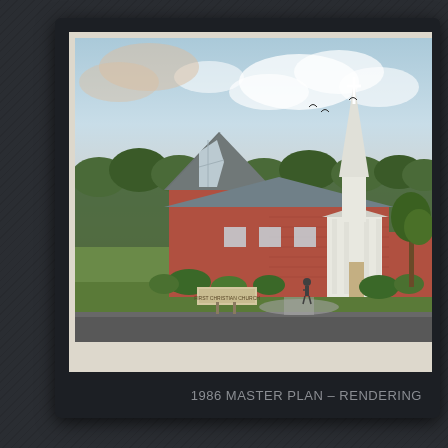[Figure (illustration): Architectural rendering of a brick church building with a tall white steeple topped with a cross, set against a blue sky with clouds and trees in background. The building has a steep-pitched gray roof, large angled window on the left gable end, white columned entrance portico, and a church sign near the road in the foreground.]
1986 MASTER PLAN – RENDERING